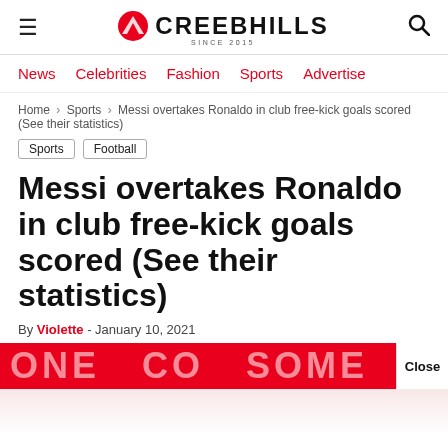CREEBHILLS SINCE 2015
News  Celebrities  Fashion  Sports  Advertise
Home > Sports > Messi overtakes Ronaldo in club free-kick goals scored (See their statistics)
Sports
Football
Messi overtakes Ronaldo in club free-kick goals scored (See their statistics)
By Violette - January 10, 2021
[Figure (photo): Red and white advertisement banner with large stylized white text, partially visible, with Close button on right]
ProfitSence.